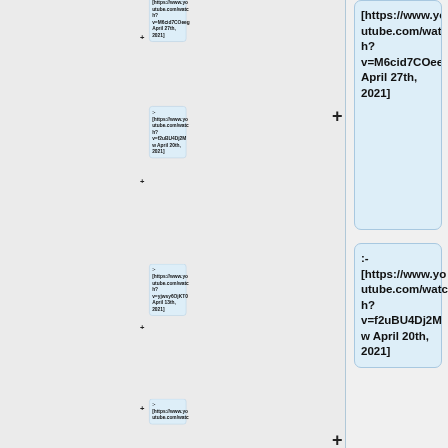[https://www.youtube.com/watch?v=M6cid7COeeg April 27th, 2021]
:- [https://www.youtube.com/watch?v=f2uBU4Dj2Mw April 20th, 2021]
:- [https://www.youtube.com/watch?v=yjwsy6OjKT0 April 13th, 2021]
:- [https://www.youtube.com/watc